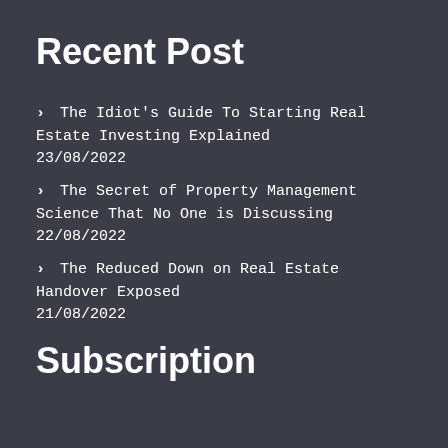Recent Post
› The Idiot's Guide To Starting Real Estate Investing Explained
23/08/2022
› The Secret of Property Management Science That No One is Discussing
22/08/2022
› The Reduced Down on Real Estate Handover Exposed
21/08/2022
Subscription